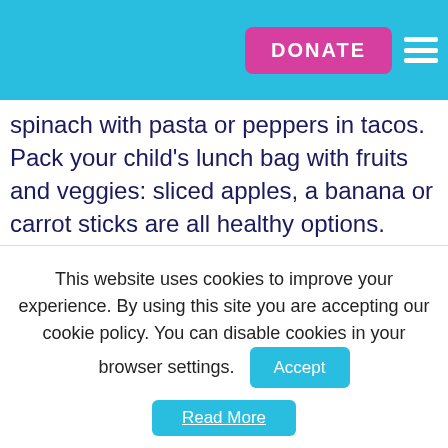DONATE
spinach with pasta or peppers in tacos. Pack your child's lunch bag with fruits and veggies: sliced apples, a banana or carrot sticks are all healthy options. You'll hit your 5-a-day before you know it.
[Figure (illustration): Week 4 banner with pink label 'WEEK 4', leaf icons, and a pink circle with a white question mark inside, on a light blue background.]
This website uses cookies to improve your experience. By using this site you are accepting our cookie policy. You can disable cookies in your browser settings.
Accept
Read More